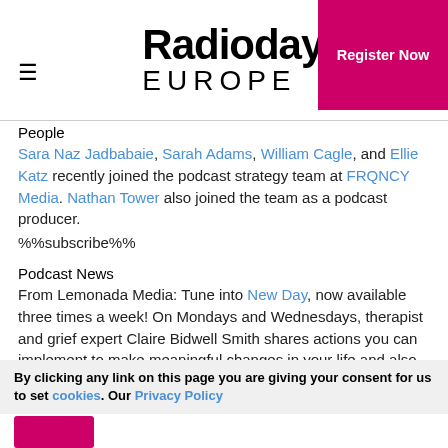Radiodays EUROPE | Register Now
People
Sara Naz Jadbabaie, Sarah Adams, William Cagle, and Ellie Katz recently joined the podcast strategy team at FRQNCY Media. Nathan Tower also joined the team as a podcast producer.
%%subscribe%%
Podcast News
From Lemonada Media: Tune into New Day, now available three times a week! On Mondays and Wednesdays, therapist and grief expert Claire Bidwell Smith shares actions you can implement to make meaningful changes in your life and also answers your questions. And on Fridays, she'll interview a thought-provoking guest.
By clicking any link on this page you are giving your consent for us to set cookies. Our Privacy Policy